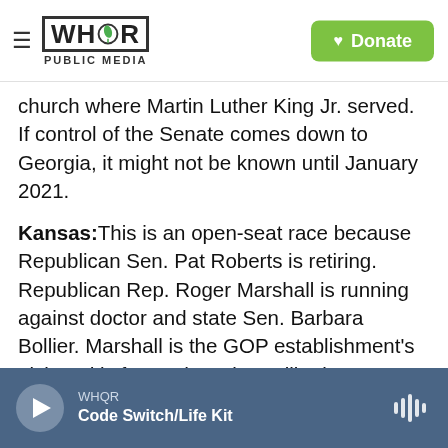WHQR PUBLIC MEDIA | Donate
church where Martin Luther King Jr. served. If control of the Senate comes down to Georgia, it might not be known until January 2021.
Kansas: This is an open-seat race because Republican Sen. Pat Roberts is retiring. Republican Rep. Roger Marshall is running against doctor and state Sen. Barbara Bollier. Marshall is the GOP establishment's pick and is favored to win. Bollier is a Republican turned Democrat who has focused on her medical background during the pandemic.
South Carolina: RepublicanSen. Lindsey Graham is
WHQR | Code Switch/Life Kit